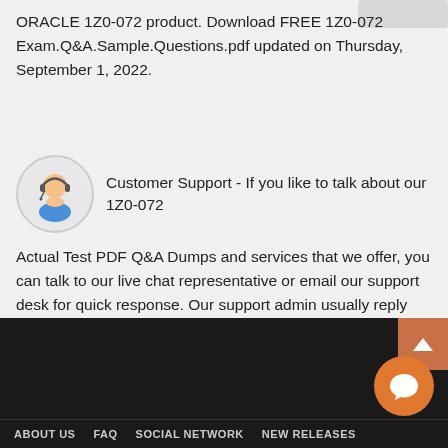ORACLE 1Z0-072 product. Download FREE 1Z0-072 Exam.Q&A.Sample.Questions.pdf updated on Thursday, September 1, 2022.
[Figure (illustration): Customer support avatar: person with headset in circular frame]
Customer Support - If you like to talk about our 1Z0-072
Actual Test PDF Q&A Dumps and services that we offer, you can talk to our live chat representative or email our support desk for quick response. Our support admin usually reply emails within max 12 hours.
ABOUT US   FAQ   SOCIAL NETWORK   NEW RELEASES